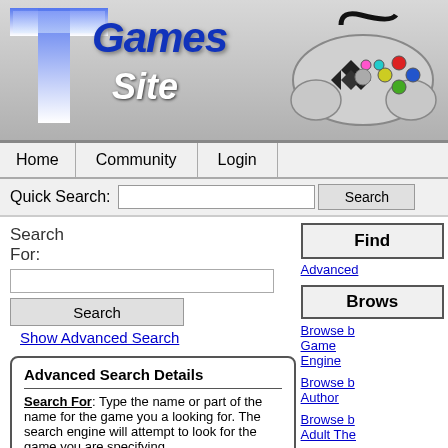[Figure (logo): TGamesSite logo with large blue T, italic Games Site text, and game controller graphic on grey gradient background]
Home | Community | Login
Quick Search:
Search For:
Search
Show Advanced Search
Find
Advanced
Brows
Browse b Game Engine
Browse b Author
Browse b Adult The
Browse b Transform
Advanced Search Details
Search For: Type the name or part of the name for the game you a looking for. The search engine will attempt to look for the game you are specifying.
Include Options: If you are looking for exact...